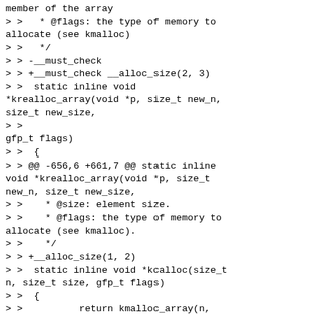member of the array
> >   * @flags: the type of memory to allocate (see kmalloc)
> >   */
> > -__must_check
> > +__must_check __alloc_size(2, 3)
> >  static inline void *krealloc_array(void *p, size_t new_n, size_t new_size,
> >
gfp_t flags)
> >  {
> > @@ -656,6 +661,7 @@ static inline void *krealloc_array(void *p, size_t new_n, size_t new_size,
> >    * @size: element size.
> >    * @flags: the type of memory to allocate (see kmalloc).
> >    */
> > +__alloc_size(1, 2)
> >  static inline void *kcalloc(size_t n, size_t size, gfp_t flags)
> >  {
> >          return kmalloc_array(n, size, flags | __GFP_ZERO);
> > @@ -685,6 +691,7 @@ static inline void *kmalloc_array_node(size_t n, size_t size, gfp_t flags,
> >          return __kmalloc_node(bytes, flags, node);